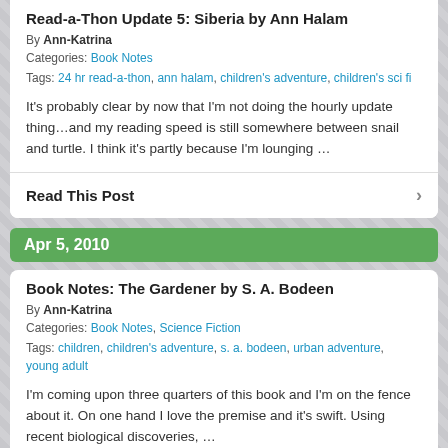Read-a-Thon Update 5: Siberia by Ann Halam
By Ann-Katrina
Categories: Book Notes
Tags: 24 hr read-a-thon, ann halam, children's adventure, children's sci fi
It's probably clear by now that I'm not doing the hourly update thing…and my reading speed is still somewhere between snail and turtle. I think it's partly because I'm lounging …
Read This Post
Apr 5, 2010
Book Notes: The Gardener by S. A. Bodeen
By Ann-Katrina
Categories: Book Notes, Science Fiction
Tags: children, children's adventure, s. a. bodeen, urban adventure, young adult
I'm coming upon three quarters of this book and I'm on the fence about it. On one hand I love the premise and it's swift. Using recent biological discoveries, …
Read This Post
Feb 27, 2010